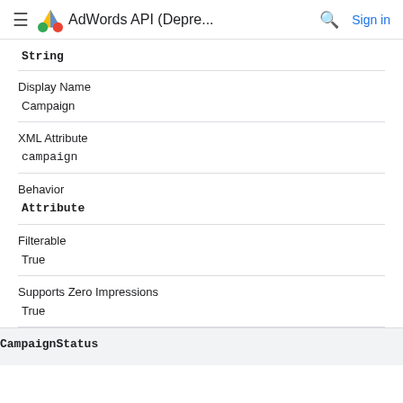AdWords API (Depre...
String
Display Name
Campaign
XML Attribute
campaign
Behavior
Attribute
Filterable
True
Supports Zero Impressions
True
CampaignStatus